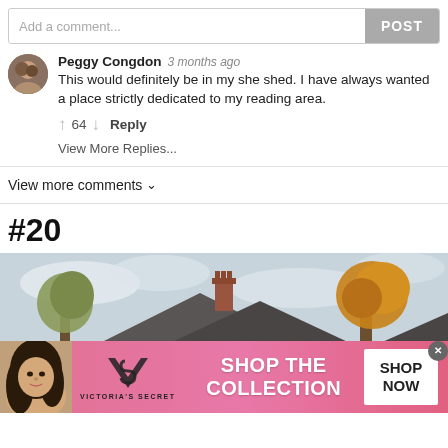Add a comment...
POST
Peggy Congdon  3 months ago
This would definitely be in my she shed. I have always wanted a place strictly dedicated to my reading area.
↑ 64 ↓  Reply
View More Replies...
View more comments ∨
#20
[Figure (photo): Partial view of a house rooftop with chimney and autumn trees against a cloudy sky, with a Victoria's Secret advertisement banner overlay at the bottom showing a model, VS logo, 'SHOP THE COLLECTION' text, and 'SHOP NOW' button.]